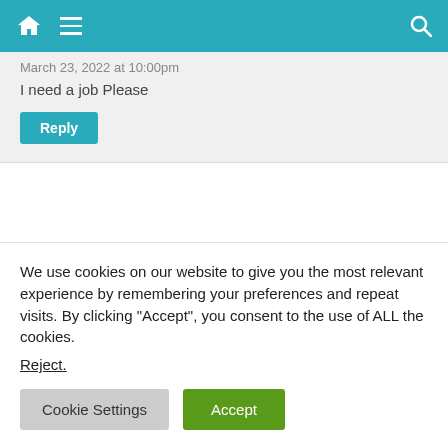Navigation bar with home, menu, and search icons
March 23, 2022 at 10:00pm
I need a job Please
Reply
Viliame Kurimate
March 23, 2022 at 8:35 pm
I'd like to work there! I'm the farmer too in my country!
We use cookies on our website to give you the most relevant experience by remembering your preferences and repeat visits. By clicking “Accept”, you consent to the use of ALL the cookies.
Reject.
Cookie Settings
Accept